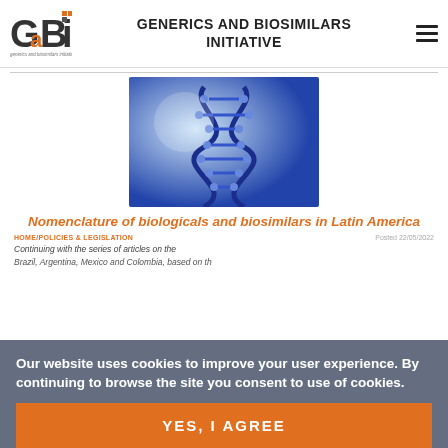GENERICS AND BIOSIMILARS INITIATIVE
[Figure (logo): GaBi online logo with 'generics and biosimilars initiative' tagline]
[Figure (photo): Blue DNA double helix illustration on light blue background]
Nomenclature of biologicals and biosimilars in Latin America
HOME/POLICIES & LEGISLATION   Posted 22/05/2022
Continuing with the series of articles on the
Brazil, Argentina, Mexico and Colombia, based on th
Our website uses cookies to improve your user experience. By continuing to browse the site you consent to use of cookies.